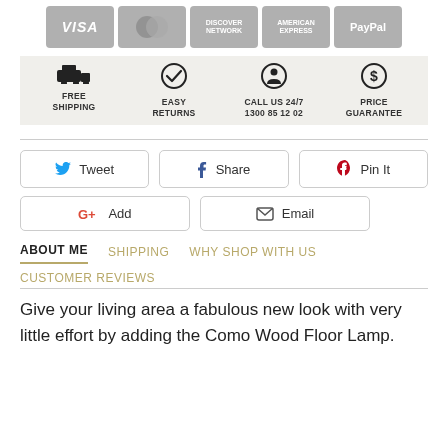[Figure (infographic): Payment icons row: Visa, MasterCard, Discover, American Express, PayPal — all in grey rounded rectangles]
[Figure (infographic): Four service features on grey background: Free Shipping (van icon), Easy Returns (checkmark icon), Call Us 24/7 1300 85 12 02 (person icon), Price Guarantee (dollar icon)]
[Figure (infographic): Social sharing buttons row 1: Tweet (Twitter bird), Share (Facebook f), Pin It (Pinterest p)]
[Figure (infographic): Social sharing buttons row 2: G+ Add (Google Plus), Email (envelope icon)]
ABOUT ME | SHIPPING | WHY SHOP WITH US | CUSTOMER REVIEWS
Give your living area a fabulous new look with very little effort by adding the Como Wood Floor Lamp.